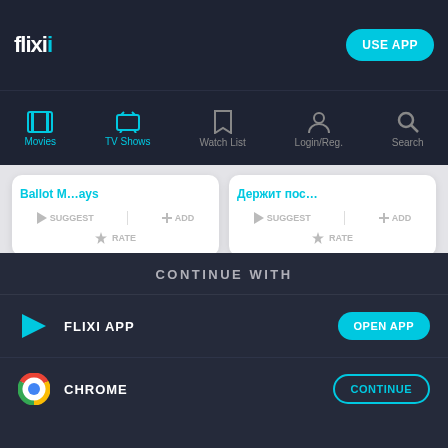flixi — USE APP
[Figure (screenshot): Navigation bar with icons: Movies, TV Shows, Watch List, Login/Reg., Search. Icons are teal/cyan on dark background.]
Ballot Measures — card with SUGGEST, ADD, RATE actions
Держит пос — card with SUGGEST, ADD, RATE actions
« PREVIOUS   NEXT »
CONTINUE WITH
FLIXI APP — OPEN APP
CHROME — CONTINUE